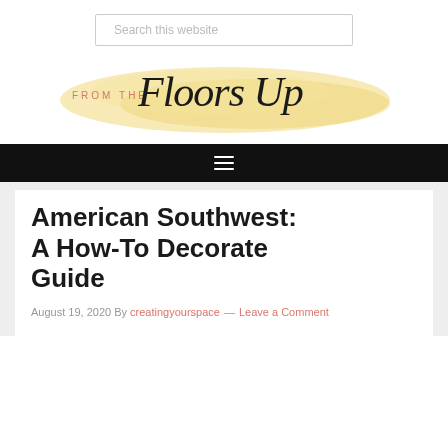Search this website
[Figure (logo): From The Floors Up blog logo with script font over watercolor wash background]
☰ navigation menu hamburger icon
American Southwest: A How-To Decorate Guide
August 19, 2020 By creatingyourspace — Leave a Comment